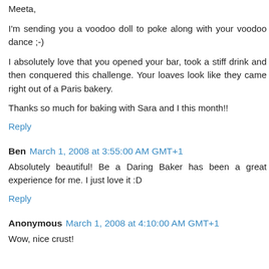Meeta,
I'm sending you a voodoo doll to poke along with your voodoo dance ;-)
I absolutely love that you opened your bar, took a stiff drink and then conquered this challenge. Your loaves look like they came right out of a Paris bakery.
Thanks so much for baking with Sara and I this month!!
Reply
Ben  March 1, 2008 at 3:55:00 AM GMT+1
Absolutely beautiful! Be a Daring Baker has been a great experience for me. I just love it :D
Reply
Anonymous  March 1, 2008 at 4:10:00 AM GMT+1
Wow, nice crust!